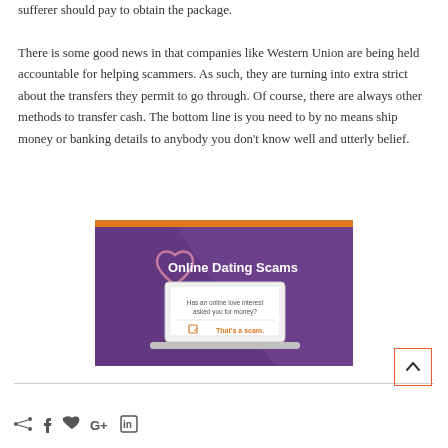sufferer should pay to obtain the package.

There is some good news in that companies like Western Union are being held accountable for helping scammers. As such, they are turning into extra strict about the transfers they permit to go through. Of course, there are always other methods to transfer cash. The bottom line is you need to by no means ship money or banking details to anybody you don't know well and utterly belief.
[Figure (infographic): Online Dating Scams infographic on purple background with orange top bar. Shows a laptop screen asking 'Has an online love interest asked you for money?' with checkbox and text 'That's a scam.' and a heart outline.]
Social sharing icons: share, facebook, twitter, google+, linkedin